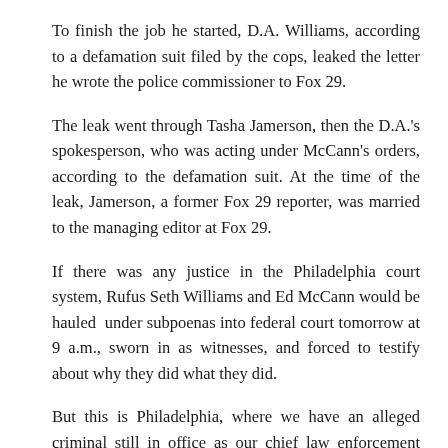To finish the job he started, D.A. Williams, according to a defamation suit filed by the cops, leaked the letter he wrote the police commissioner to Fox 29.
The leak went through Tasha Jamerson, then the D.A.'s spokesperson, who was acting under McCann's orders, according to the defamation suit. At the time of the leak, Jamerson, a former Fox 29 reporter, was married to the managing editor at Fox 29.
If there was any justice in the Philadelphia court system, Rufus Seth Williams and Ed McCann would be hauled under subpoenas into federal court tomorrow at 9 a.m., sworn in as witnesses, and forced to testify about why they did what they did.
But this is Philadelphia, where we have an alleged criminal still in office as our chief law enforcement officer. And the only thing left to figure out is just how many millions the